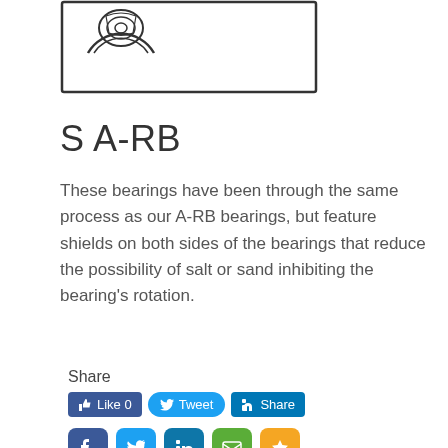[Figure (illustration): Product illustration of S A-RB bearing shown inside a rectangular border with a partial view of the bearing component (shield visible)]
S A-RB
These bearings have been through the same process as our A-RB bearings, but feature shields on both sides of the bearings that reduce the possibility of salt or sand inhibiting the bearing's rotation.
Share
[Figure (screenshot): Social sharing buttons: Facebook Like 0, Tweet, LinkedIn Share buttons in a row, and social media icon buttons for Facebook, Twitter, LinkedIn, Email, and Bookmark below]